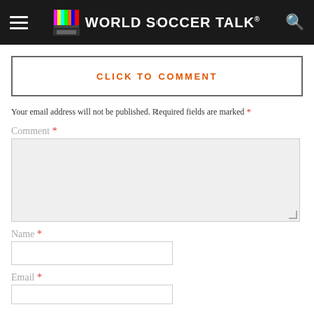World Soccer Talk
CLICK TO COMMENT
Your email address will not be published. Required fields are marked *
Comment *
Name *
Email *